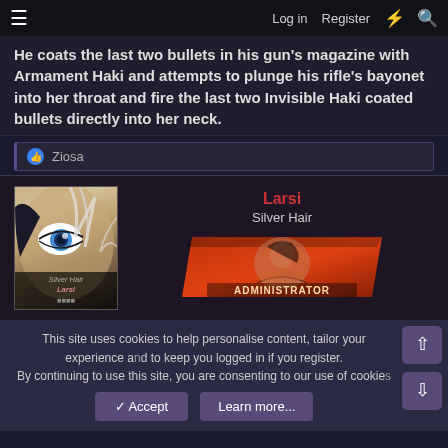≡  Log in  Register  ⚡  🔍
He coats the last two bullets in his gun's magazine with Armament Haki and attempts to plunge his rifle's bayonet into her throat and fire the last two Invisible Haki coated bullets directly into her neck.
👍 Ziosa
[Figure (illustration): Anime-style avatar showing a close-up of a character's face with a blue eye and silver/white hair, with text overlay 'Silver Hair Larsi [rank]']
Larsi
Silver Hair
ADMINISTRATOR
This site uses cookies to help personalise content, tailor your experience and to keep you logged in if you register.
By continuing to use this site, you are consenting to our use of cookies.
✓ Accept    Learn more...